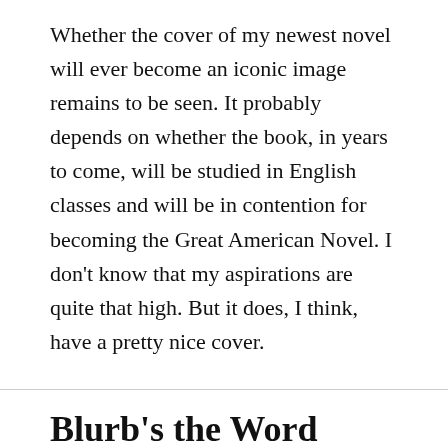Whether the cover of my newest novel will ever become an iconic image remains to be seen. It probably depends on whether the book, in years to come, will be studied in English classes and will be in contention for becoming the Great American Novel. I don't know that my aspirations are quite that high. But it does, I think, have a pretty nice cover.
Blurb's the Word
ON SEPTEMBER 13, 2018 / BY SARAH ANGLETON / 22 COMMENTS